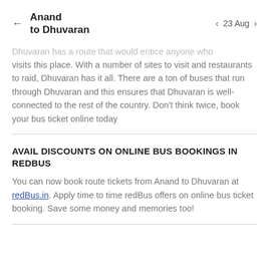Anand to Dhuvaran | 23 Aug
Dhuvaran has a route that would entice anyone who visits this place. With a number of sites to visit and restaurants to raid, Dhuvaran has it all. There are a ton of buses that run through Dhuvaran and this ensures that Dhuvaran is well-connected to the rest of the country. Don't think twice, book your bus ticket online today
AVAIL DISCOUNTS ON ONLINE BUS BOOKINGS IN REDBUS
You can now book route tickets from Anand to Dhuvaran at redBus.in. Apply time to time redBus offers on online bus ticket booking. Save some money and memories too!